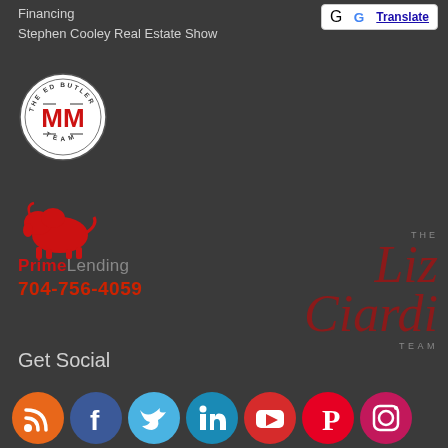Financing
Stephen Cooley Real Estate Show
[Figure (logo): The Ed Butler MM Team circular logo]
[Figure (logo): PrimeLending bison logo with phone number 704-756-4059]
[Figure (logo): The Liz Ciardi Team logo]
Get Social
[Figure (illustration): Row of social media icons: RSS, Facebook, Twitter, LinkedIn, YouTube, Pinterest, Instagram]